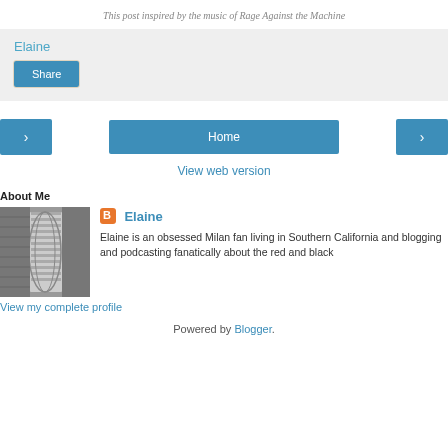This post inspired by the music of Rage Against the Machine
Elaine
Share
Home
View web version
About Me
Elaine
Elaine is an obsessed Milan fan living in Southern California and blogging and podcasting fanatically about the red and black
View my complete profile
Powered by Blogger.